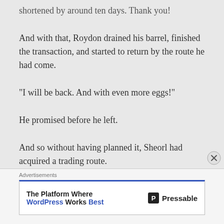shortened by around ten days. Thank you!
And with that, Roydon drained his barrel, finished the transaction, and started to return by the route he had come.
“I will be back. And with even more eggs!”
He promised before he left.
And so without having planned it, Sheorl had acquired a trading route.
Advertisements
[Figure (other): Advertisement banner: 'The Platform Where WordPress Works Best' with Pressable logo]